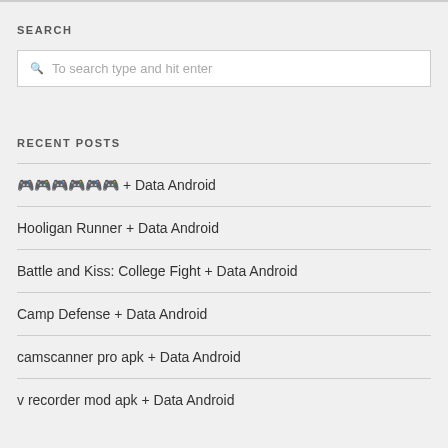SEARCH
To search type and hit enter
RECENT POSTS
🎮🎮🎮🎮🎮🎮 + Data Android
Hooligan Runner + Data Android
Battle and Kiss: College Fight + Data Android
Camp Defense + Data Android
camscanner pro apk + Data Android
v recorder mod apk + Data Android